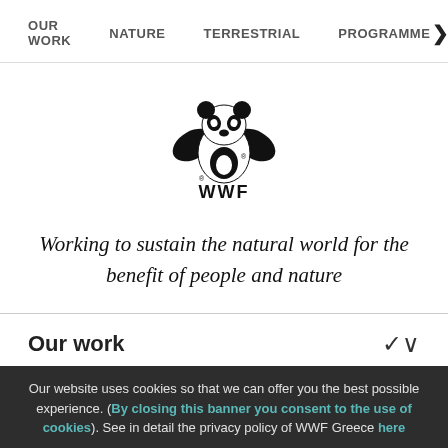OUR WORK  NATURE  TERRESTRIAL  PROGRAMME ▶
[Figure (logo): WWF panda logo with 'WWF' text below]
Working to sustain the natural world for the benefit of people and nature
Our work
Our website uses cookies so that we can offer you the best possible experience. (By closing this banner you consent to the use of cookies). See in detail the privacy policy of WWF Greece here